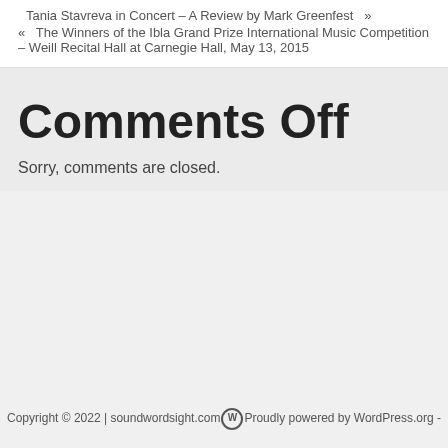Tania Stavreva in Concert – A Review by Mark Greenfest   »
«   The Winners of the Ibla Grand Prize International Music Competition – Weill Recital Hall at Carnegie Hall, May 13, 2015
Comments Off
Sorry, comments are closed.
Copyright © 2022 | soundwordsight.com Proudly powered by WordPress.org -